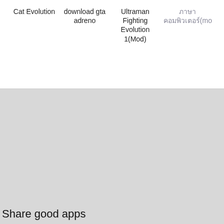Cat Evolution
download gta adreno
Ultraman Fighting Evolution 1(Mod)
ภาษาคอมพิวเตอร์(mod
Share good apps